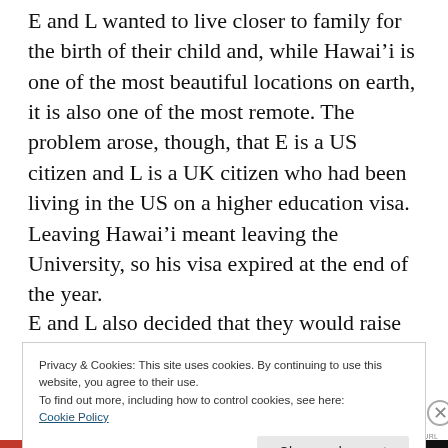E and L wanted to live closer to family for the birth of their child and, while Hawai'i is one of the most beautiful locations on earth, it is also one of the most remote. The problem arose, though, that E is a US citizen and L is a UK citizen who had been living in the US on a higher education visa. Leaving Hawai'i meant leaving the University, so his visa expired at the end of the year.
E and L also decided that they would raise their
Privacy & Cookies: This site uses cookies. By continuing to use this website, you agree to their use.
To find out more, including how to control cookies, see here:
Cookie Policy